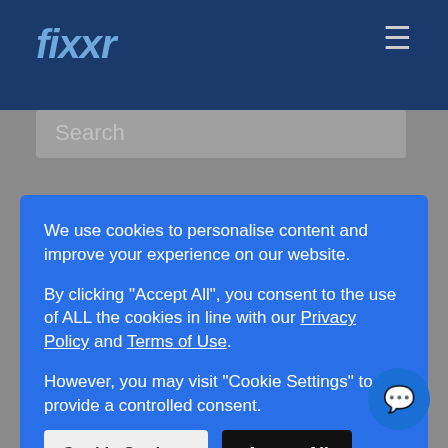fixxr
[Figure (screenshot): Website screenshot of fixxr showing dark blue navigation bar with fixxr logo and hamburger menu, a search bar, and a cookie consent modal overlay on a gray background]
We use cookies to personalise content and improve your experience on our website.
By clicking "Accept All", you consent to the use of ALL the cookies in line with our Privacy Policy and Terms of Use.
However, you may visit "Cookie Settings" to provide a controlled consent.
mechanics.